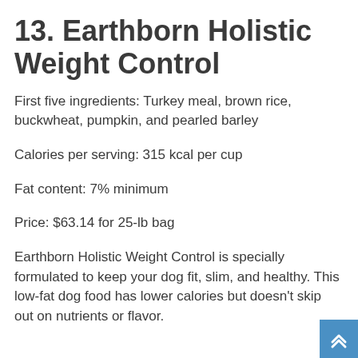13. Earthborn Holistic Weight Control
First five ingredients: Turkey meal, brown rice, buckwheat, pumpkin, and pearled barley
Calories per serving: 315 kcal per cup
Fat content: 7% minimum
Price: $63.14 for 25-lb bag
Earthborn Holistic Weight Control is specially formulated to keep your dog fit, slim, and healthy. This low-fat dog food has lower calories but doesn't skip out on nutrients or flavor.